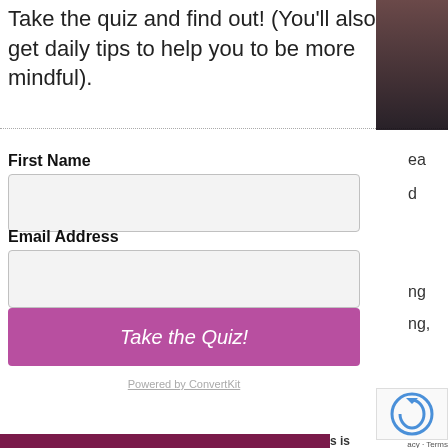Take the quiz and find out! (You'll also get daily tips to help you to be more mindful).
First Name
Email Address
Take the Quiz!
Powered by ConvertKit
ea
d
ng
ng,
acy · Terms
s is